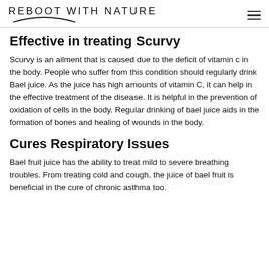REBOOT WITH NATURE
Effective in treating Scurvy
Scurvy is an ailment that is caused due to the deficit of vitamin c in the body. People who suffer from this condition should regularly drink Bael juice. As the juice has high amounts of vitamin C, it can help in the effective treatment of the disease. It is helpful in the prevention of oxidation of cells in the body. Regular drinking of bael juice aids in the formation of bones and healing of wounds in the body.
Cures Respiratory Issues
Bael fruit juice has the ability to treat mild to severe breathing troubles. From treating cold and cough, the juice of bael fruit is beneficial in the cure of chronic asthma too.